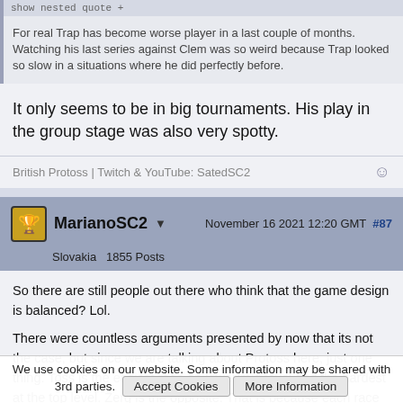show nested quote +
For real Trap has become worse player in a last couple of months. Watching his last series against Clem was so weird because Trap looked so slow in a situations where he did perfectly before.
It only seems to be in big tournaments. His play in the group stage was also very spotty.
British Protoss | Twitch & YouTube: SatedSC2
MarianoSC2 ▼
November 16 2021 12:20 GMT  #87
Slovakia  1855 Posts
So there are still people out there who think that the game design is balanced? Lol.
There were countless arguments presented by now that its not the case, but since we are talking about Protoss here, just one thing. Toss is the easiest race on lower/mid level and the hardest at the top level. Zerg is the opposite. That is because each race has a certain skill line and the ceiling of Protoss just does not reach that of the Zerg or Terran. It has
We use cookies on our website. Some information may be shared with 3rd parties.  Accept Cookies  More Information